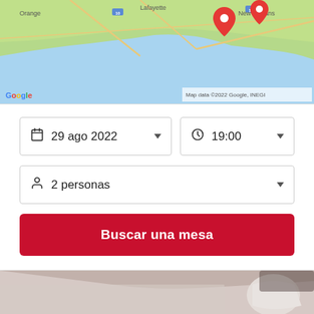[Figure (map): Google Maps screenshot showing the Louisiana coast around New Orleans and Lafayette area, with red location pins. Map data ©2022 Google, INEGI watermark visible.]
[Figure (screenshot): Restaurant reservation form UI with date selector showing '29 ago 2022', time selector showing '19:00', party size selector showing '2 personas', and a red 'Buscar una mesa' button.]
[Figure (photo): Blurred photo of a person in white clothing holding what appears to be a white cup or bowl, restaurant/dining scene.]